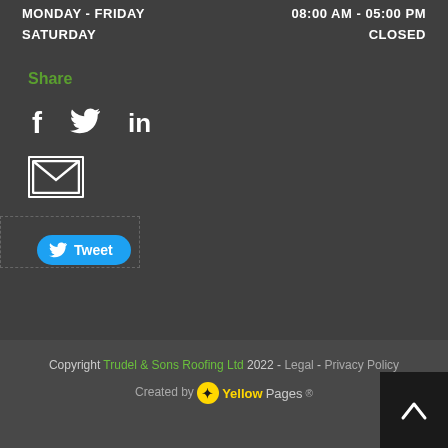MONDAY - FRIDAY   08:00 AM - 05:00 PM
SATURDAY   CLOSED
Share
[Figure (infographic): Social share icons: Facebook (f), Twitter bird, LinkedIn (in), and email envelope]
[Figure (infographic): Tweet button with Twitter bird icon and text 'Tweet']
Copyright Trudel & Sons Roofing Ltd 2022 - Legal - Privacy Policy
Created by YellowPages